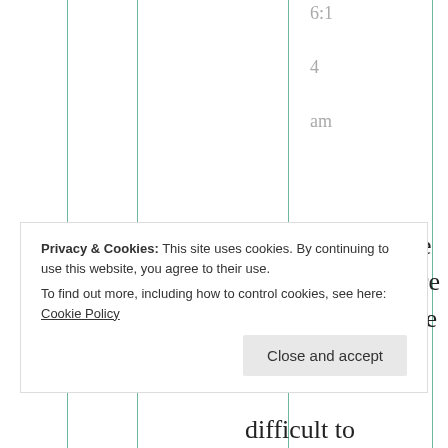6:14 am
Officer Candidate School. It is where an enlisted service member can
Privacy & Cookies: This site uses cookies. By continuing to use this website, you agree to their use. To find out more, including how to control cookies, see here: Cookie Policy
Close and accept
difficult to